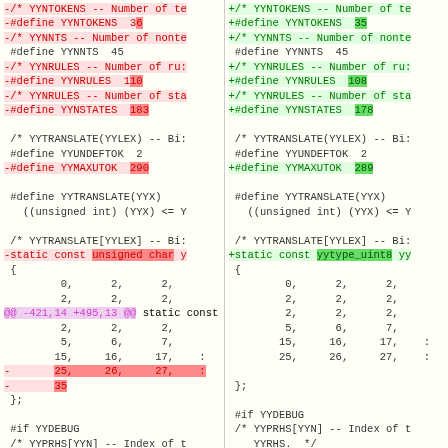[Figure (screenshot): A side-by-side unified diff view of C source code showing changes to YYTOKENS, YYNNTS, YYNRULES, YYNSTATES, YYMAXUTOK, and yytranslate definitions. Left column shows removed lines (red, prefixed with -), right column shows added lines (green, prefixed with +). Includes a hunk header and array data rows.]